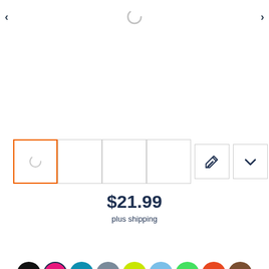[Figure (screenshot): E-commerce product page screenshot showing image carousel navigation arrows, loading spinner, thumbnail strip with 4 image thumbnails and edit/expand icons, price $21.99 plus shipping, orange Add to cart button, and color swatch selector row with 10 colors]
$21.99
plus shipping
Add to cart